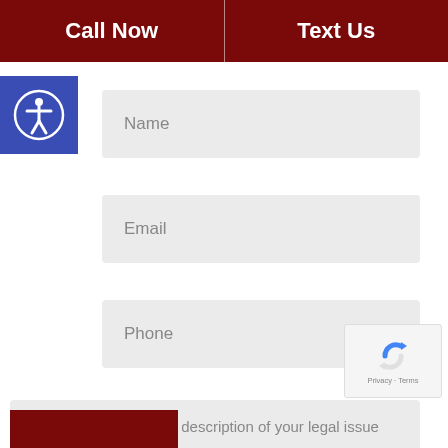Call Now
Text Us
[Figure (illustration): Accessibility icon button (person with circle) on blue background]
Name
Email
Phone
Please provide a brief description of your legal issue
[Figure (logo): reCAPTCHA logo with Privacy and Terms text]